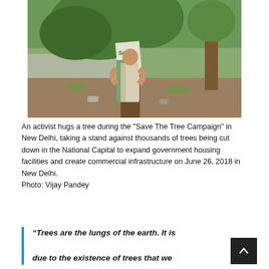[Figure (photo): A woman in a saree hugs a tree with 'Save' signs attached to it, during the Save The Tree Campaign in New Delhi. Other trees visible in the background on a dirt ground area.]
An activist hugs a tree during the "Save The Tree Campaign" in New Delhi, taking a stand against thousands of trees being cut down in the National Capital to expand government housing facilities and create commercial infrastructure on June 26, 2018 in New Delhi.
Photo: Vijay Pandey
“Trees are the lungs of the earth. It is due to the existence of trees that we